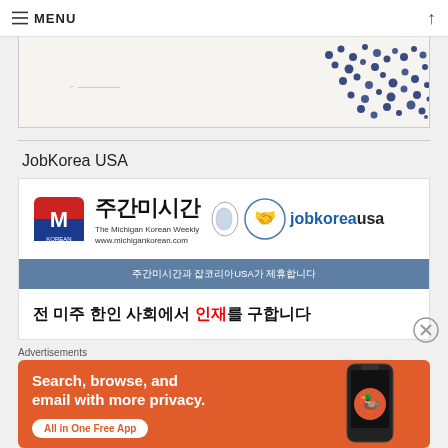MENU
[Figure (illustration): Partial view of an artwork or image showing blue dot cluster pattern on a light background]
JobKorea USA
[Figure (infographic): JobKorea USA advertisement banner featuring Jugan Misi-gan Korean Weekly logo and jobkoreausa branding with handshake icon, Korean text announcing partnership and job recruitment]
Advertisements
[Figure (infographic): DuckDuckGo advertisement: Search, browse, and email with more privacy. All in One Free App. DuckDuckGo logo with phone image on orange background.]